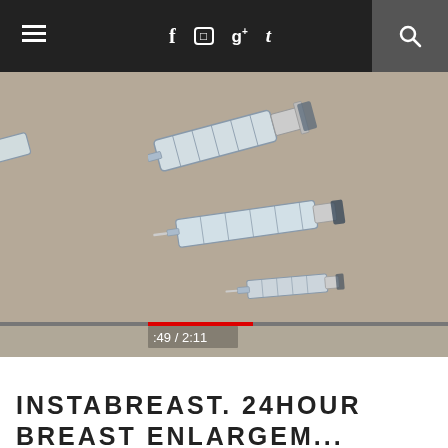≡  f  ⊡  g+  t  🔍
[Figure (photo): Close-up photo of multiple medical syringes of varying sizes laid on a beige/tan surface. A video player progress bar is visible at the bottom with a red fill showing elapsed time. Time display reads ':49 / 2:11'.]
INSTABREAST. 24HOUR BREAST ENLARGEM...